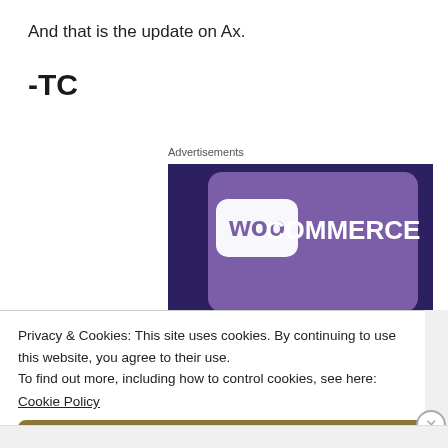And that is the update on Ax.
-TC
Advertisements
[Figure (screenshot): WooCommerce advertisement banner with purple background and teal accent shapes, showing WooCommerce logo in white text]
Privacy & Cookies: This site uses cookies. By continuing to use this website, you agree to their use.
To find out more, including how to control cookies, see here: Cookie Policy
Close and accept